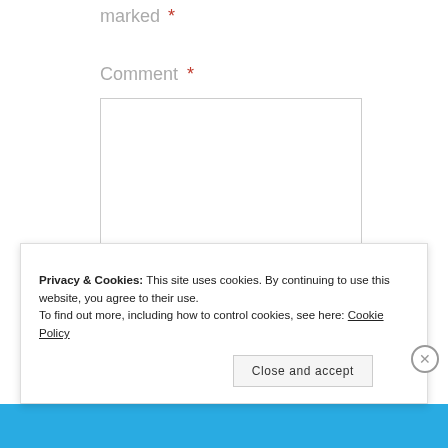marked *
Comment *
[Figure (screenshot): Empty comment textarea input box with resize handle]
Privacy & Cookies: This site uses cookies. By continuing to use this website, you agree to their use.
To find out more, including how to control cookies, see here: Cookie Policy
Close and accept